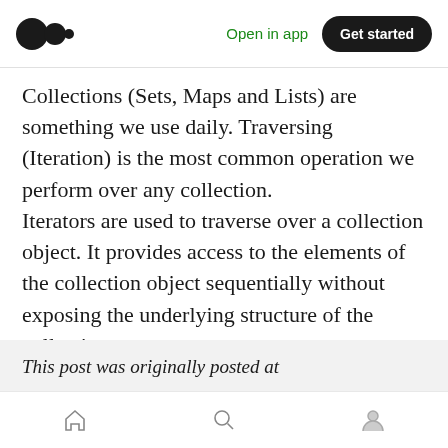Open in app | Get started
Collections (Sets, Maps and Lists) are something we use daily. Traversing (Iteration) is the most common operation we perform over any collection. Iterators are used to traverse over a collection object. It provides access to the elements of the collection object sequentially without exposing the underlying structure of the collection.
This post was originally posted at
Home | Search | Profile